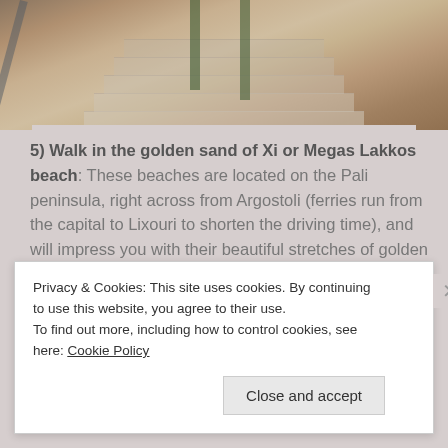[Figure (photo): Photograph of stone steps, likely outdoor stairs on a rocky hillside with sandy/earthy surroundings and some vegetation visible]
5) Walk in the golden sand of Xi or Megas Lakkos beach: These beaches are located on the Pali peninsula, right across from Argostoli (ferries run from the capital to Lixouri to shorten the driving time), and will impress you with their beautiful stretches of golden red sand. It definitely gives you a change from the mainly pebble beaches on most of the island and you can easily rent sunbeds and umbrellas if you want some additional
Privacy & Cookies: This site uses cookies. By continuing to use this website, you agree to their use.
To find out more, including how to control cookies, see here: Cookie Policy
Close and accept